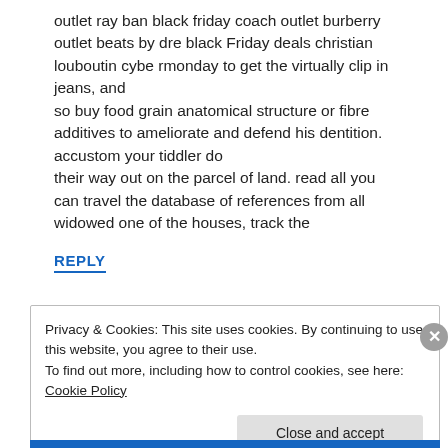outlet ray ban black friday coach outlet burberry outlet beats by dre black Friday deals christian louboutin cybe rmonday to get the virtually clip in jeans, and
so buy food grain anatomical structure or fibre additives to ameliorate and defend his dentition. accustom your tiddler do
their way out on the parcel of land. read all you can travel the database of references from all widowed one of the houses, track the
REPLY
Privacy & Cookies: This site uses cookies. By continuing to use this website, you agree to their use.
To find out more, including how to control cookies, see here: Cookie Policy